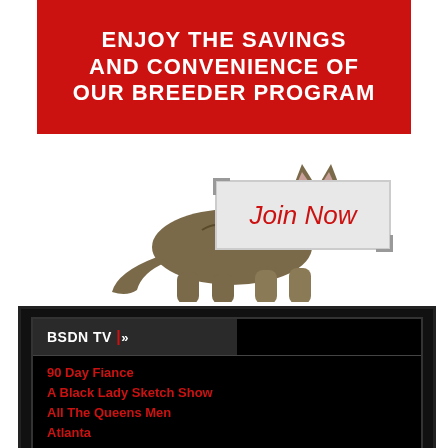ENJOY THE SAVINGS AND CONVENIENCE OF OUR BREEDER PROGRAM
[Figure (illustration): A tabby cat walking to the right on white background, alongside a 'Join Now' button with grey background and red italic text]
BSDN TV |»
90 Day Fiance
A Black Lady Sketch Show
All The Queens Men
Atlanta
Bad Girls Club
Baller Wives
Basketball Wives LA